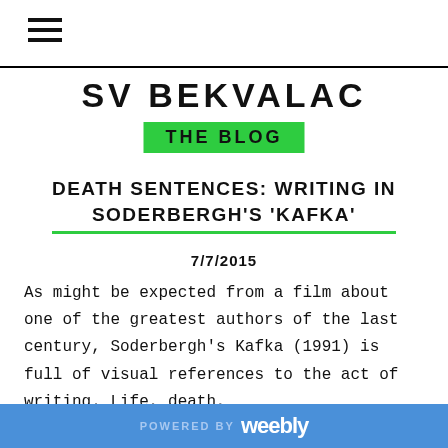≡
SV BEKVALAC
THE BLOG
DEATH SENTENCES: WRITING IN SODERBERGH'S 'KAFKA'
7/7/2015
As might be expected from a film about one of the greatest authors of the last century, Soderbergh's Kafka (1991) is full of visual references to the act of writing. Life, death,
POWERED BY weebly